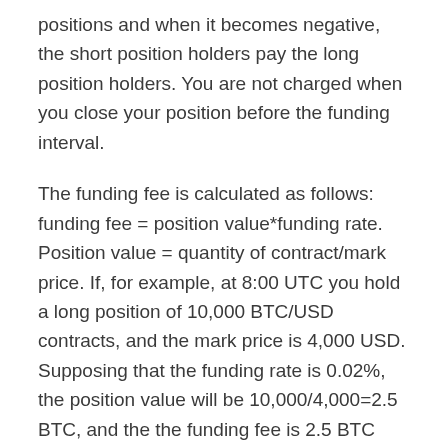positions and when it becomes negative, the short position holders pay the long position holders. You are not charged when you close your position before the funding interval.
The funding fee is calculated as follows: funding fee = position value*funding rate. Position value = quantity of contract/mark price. If, for example, at 8:00 UTC you hold a long position of 10,000 BTC/USD contracts, and the mark price is 4,000 USD. Supposing that the funding rate is 0.02%, the position value will be 10,000/4,000=2.5 BTC, and the the funding fee is 2.5 BTC *0.02%=0.0005BTC.
Bybit Order Types